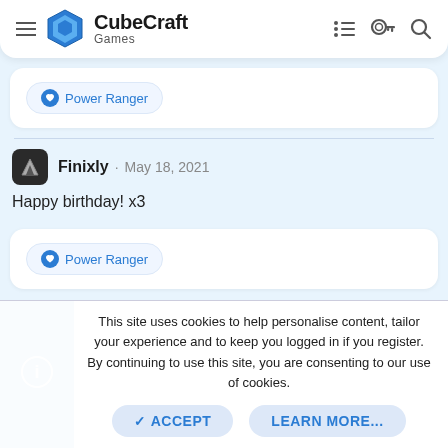CubeCraft Games
Power Ranger
Finixly · May 18, 2021
Happy birthday! x3
Power Ranger
This site uses cookies to help personalise content, tailor your experience and to keep you logged in if you register. By continuing to use this site, you are consenting to our use of cookies.
ACCEPT
LEARN MORE...